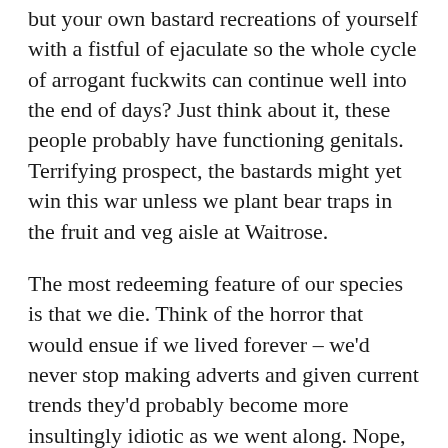but your own bastard recreations of yourself with a fistful of ejaculate so the whole cycle of arrogant fuckwits can continue well into the end of days? Just think about it, these people probably have functioning genitals. Terrifying prospect, the bastards might yet win this war unless we plant bear traps in the fruit and veg aisle at Waitrose.
The most redeeming feature of our species is that we die. Think of the horror that would ensue if we lived forever – we'd never stop making adverts and given current trends they'd probably become more insultingly idiotic as we went along. Nope, the responsible thing to do is accept that you a worthless clump of matter and will one day be buried alongside other inconsequential heaps of ex-meat in the great process of desiccation that we call life. I'll go one further: the responsible thing to do would be for all of us to die now and be done with it. We'd solve a lot of our problems that way I think. Plus the smug, panting grin of the fun runner would turn to pained anguish as they realise